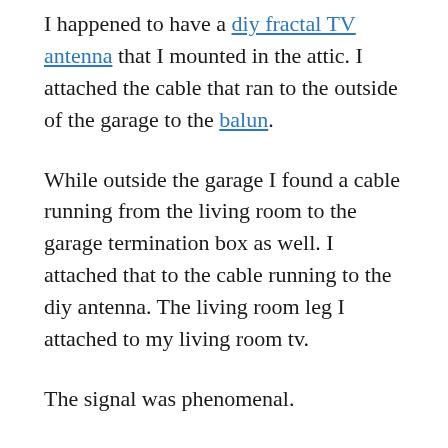I happened to have a diy fractal TV antenna that I mounted in the attic. I attached the cable that ran to the outside of the garage to the balun.
While outside the garage I found a cable running from the living room to the garage termination box as well. I attached that to the cable running to the diy antenna. The living room leg I attached to my living room tv.
The signal was phenomenal.
And that established the basis for my antenna feeds. I may set up more, but for now, that's